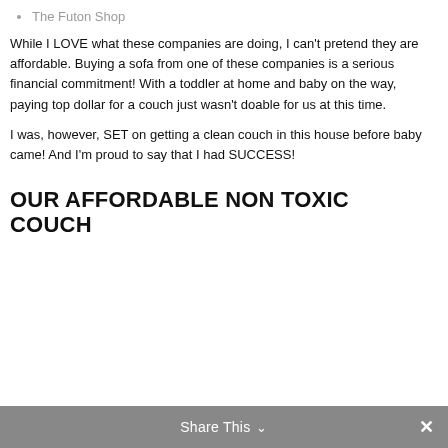The Futon Shop
While I LOVE what these companies are doing, I can't pretend they are affordable. Buying a sofa from one of these companies is a serious financial commitment! With a toddler at home and baby on the way, paying top dollar for a couch just wasn't doable for us at this time.
I was, however, SET on getting a clean couch in this house before baby came! And I'm proud to say that I had SUCCESS!
OUR AFFORDABLE NON TOXIC COUCH
Share This ∨  ✕